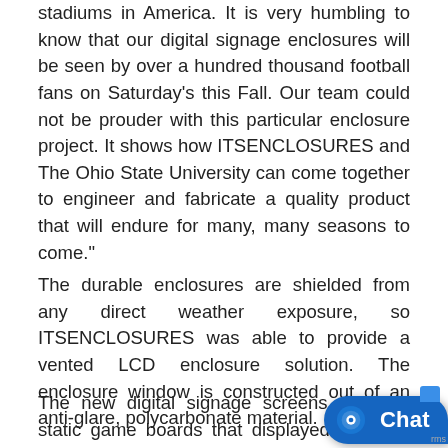stadiums in America. It is very humbling to know that our digital signage enclosures will be seen by over a hundred thousand football fans on Saturday’s this Fall. Our team could not be prouder with this particular enclosure project. It shows how ITSENCLOSURES and The Ohio State University can come together to engineer and fabricate a quality product that will endure for many, many seasons to come.”
The durable enclosures are shielded from any direct weather exposure, so ITSENCLOSURES was able to provide a vented LCD enclosure solution. The enclosure window is constructed out of an anti-glare, polycarbonate material.
The new digital signage screens replaced static game boards that displayed statistics for
[Figure (other): Blue chat widget button with circular chat icon and 'Chat' text label, positioned in bottom right corner]